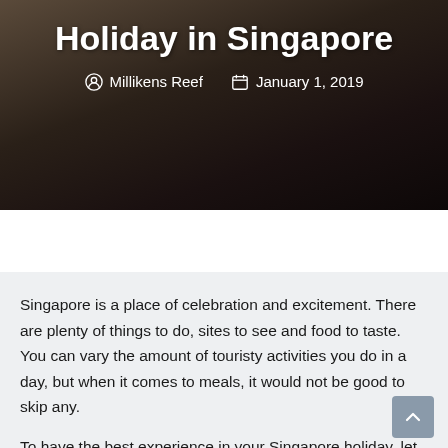Holiday in Singapore
Millikens Reef   January 1, 2019
Singapore is a place of celebration and excitement. There are plenty of things to do, sites to see and food to taste. You can vary the amount of touristy activities you do in a day, but when it comes to meals, it would not be good to skip any.
To have the best experience in your Singapore holiday, let each dining opportunity be memorable.